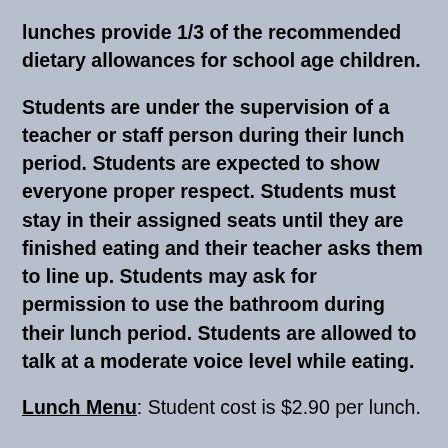lunches provide 1/3 of the recommended dietary allowances for school age children.
Students are under the supervision of a teacher or staff person during their lunch period. Students are expected to show everyone proper respect. Students must stay in their assigned seats until they are finished eating and their teacher asks them to line up. Students may ask for permission to use the bathroom during their lunch period. Students are allowed to talk at a moderate voice level while eating.
Lunch Menu: Student cost is $2.90 per lunch.